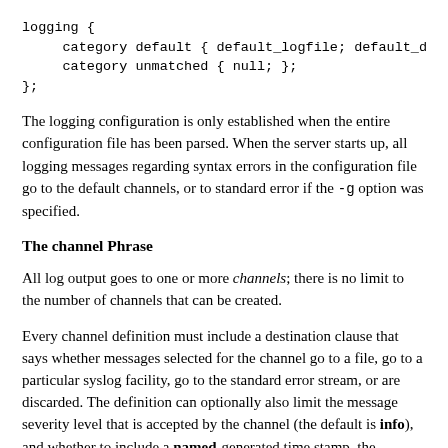logging {
     category default { default_logfile; default_debug; }
     category unmatched { null; };
};
The logging configuration is only established when the entire configuration file has been parsed. When the server starts up, all logging messages regarding syntax errors in the configuration file go to the default channels, or to standard error if the -g option was specified.
The channel Phrase
All log output goes to one or more channels; there is no limit to the number of channels that can be created.
Every channel definition must include a destination clause that says whether messages selected for the channel go to a file, go to a particular syslog facility, go to the standard error stream, or are discarded. The definition can optionally also limit the message severity level that is accepted by the channel (the default is info), and whether to include a named-generated time stamp, the category name, and/or the severity level (the default is not to include any).